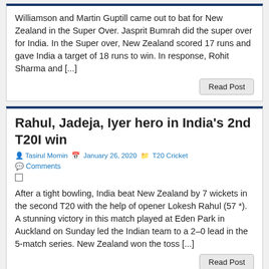Williamson and Martin Guptill came out to bat for New Zealand in the Super Over. Jasprit Bumrah did the super over for India. In the Super over, New Zealand scored 17 runs and gave India a target of 18 runs to win. In response, Rohit Sharma and [...]
Read Post
Rahul, Jadeja, Iyer hero in India's 2nd T20I win
Tasirul Momin   January 26, 2020   T20 Cricket   Comments
After a tight bowling, India beat New Zealand by 7 wickets in the second T20 with the help of opener Lokesh Rahul (57 *). A stunning victory in this match played at Eden Park in Auckland on Sunday led the Indian team to a 2–0 lead in the 5-match series. New Zealand won the toss [...]
Read Post
Iyer and Rahul shine as India win 1st T20I